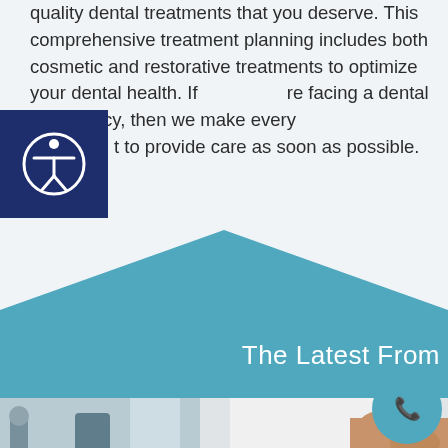quality dental treatments that you deserve. This comprehensive treatment planning includes both cosmetic and restorative treatments to optimize your dental health. If you are facing a dental emergency, then we make every effort to provide care as soon as possible.
[Figure (illustration): Accessibility icon — circular button with a dark navy blue background and a white person/accessibility symbol in the center]
[Figure (infographic): Teal/steel-blue chevron/arrow shape pointing upward, forming a decorative section divider between the white top section and the teal lower section]
The Latest From
[Figure (photo): Dental office interior showing a dental chair and equipment in the background]
[Figure (photo): A dentist or dental professional in a white coat with hands visible, likely in a consultation or treatment setting]
[Figure (illustration): Circular teal phone/call button icon in the bottom-right corner]